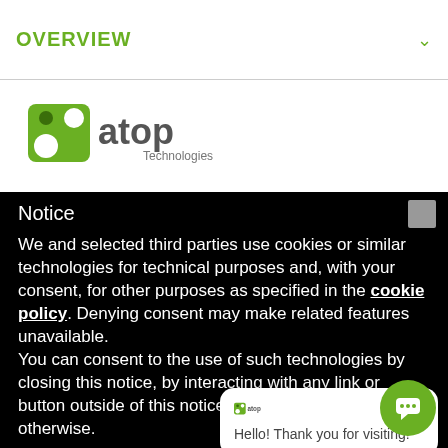OVERVIEW
[Figure (logo): Atop Technologies logo with green icon and gray/green text]
Notice
We and selected third parties use cookies or similar technologies for technical purposes and, with your consent, for other purposes as specified in the cookie policy. Denying consent may make related features unavailable.
You can consent to the use of such technologies by closing this notice, by interacting with any link or button outside of this notice or by continuing to browse otherwise.
[Figure (screenshot): Chat popup overlay with Atop logo and message: Hello! Thank you for visiting!]